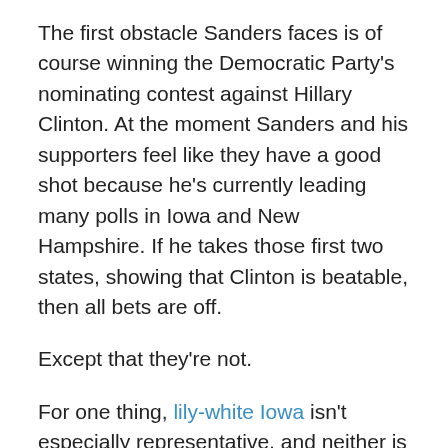The first obstacle Sanders faces is of course winning the Democratic Party's nominating contest against Hillary Clinton. At the moment Sanders and his supporters feel like they have a good shot because he's currently leading many polls in Iowa and New Hampshire. If he takes those first two states, showing that Clinton is beatable, then all bets are off.
Except that they're not.
For one thing, lily-white Iowa isn't especially representative, and neither is even more lily-white New Hampshire, which also just so happens to border Sanders' home state of Vermont. Once the voting moves on to states in the South, West, and Midwest, and to bigger, more demographically diverse states where vastly more delegates are at stake, Clinton is quite likely to come out